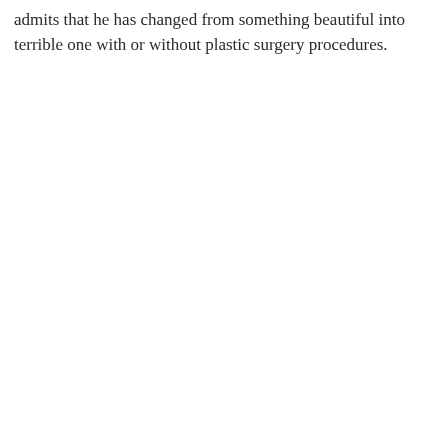admits that he has changed from something beautiful into terrible one with or without plastic surgery procedures.